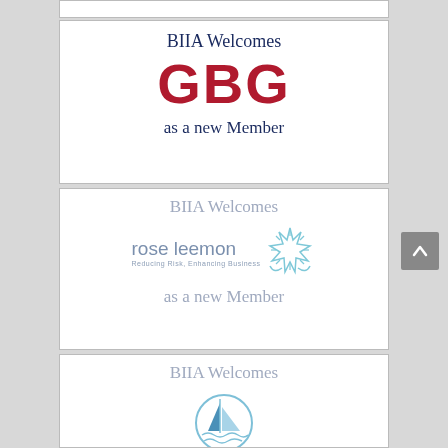[Figure (logo): Partially visible white card border at top of page]
[Figure (infographic): BIIA Welcomes GBG as a new Member card. Large bold red GBG logo text on white background with dark navy BIIA Welcomes and as a new Member text.]
[Figure (infographic): BIIA Welcomes rose leemon as a new Member card. Rose leemon logo with starburst graphic. Subtitle: Reducing Risk, Enhancing Business. Text in muted blue-grey.]
[Figure (infographic): BIIA Welcomes TORY as a new Member card. TORY logo shows a sailboat in a circle. Text in muted blue-grey. Partially visible at bottom.]